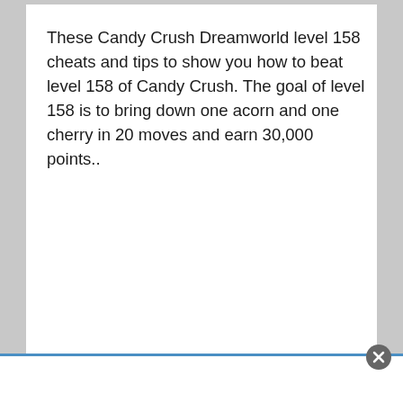These Candy Crush Dreamworld level 158 cheats and tips to show you how to beat level 158 of Candy Crush. The goal of level 158 is to bring down one acorn and one cherry in 20 moves and earn 30,000 points..